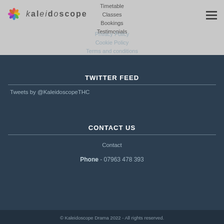Kaleidoscope — navigation header with logo and hamburger menu
Timetable
Classes
Bookings
Testimonials
Privacy Policy
Cookie Policy
Terms and conditions
TWITTER FEED
Tweets by @KaleidoscopeTHC
CONTACT US
Contact
Phone - 07963 478 393
© Kaleidoscope Drama 2022 - All rights reserved.